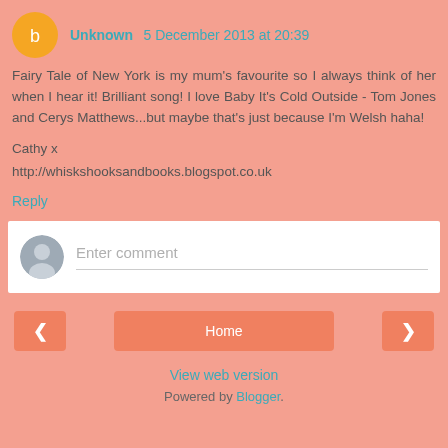Unknown 5 December 2013 at 20:39
Fairy Tale of New York is my mum's favourite so I always think of her when I hear it! Brilliant song! I love Baby It's Cold Outside - Tom Jones and Cerys Matthews...but maybe that's just because I'm Welsh haha!

Cathy x
http://whiskshooksandbooks.blogspot.co.uk
Reply
Enter comment
Home
View web version
Powered by Blogger.